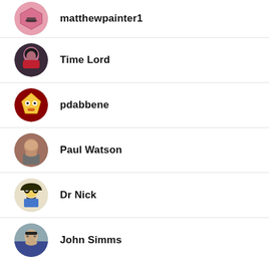matthewpainter1
Time Lord
pdabbene
Paul Watson
Dr Nick
John Simms